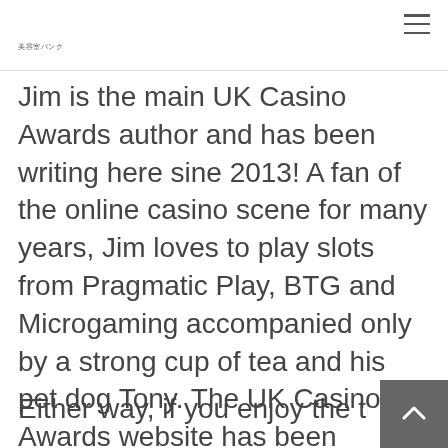美容室バンク
Jim is the main UK Casino Awards author and has been writing here sine 2013! A fan of the online casino scene for many years, Jim loves to play slots from Pragmatic Play, BTG and Microgaming accompanied only by a strong cup of tea and his pet dog Tony. The UK Casino Awards website has been sharing tips and advice on selecting the best online casinos for years.
Either way, if you enjoy the thrill of slot